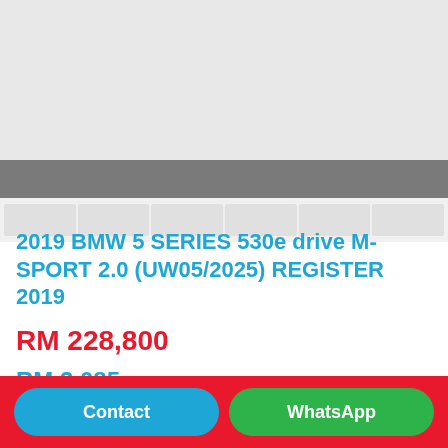[Figure (photo): Car listing image placeholder showing a grey image area with a darker grey bar across the middle and thumbnail images at the bottom]
2019 BMW 5 SERIES 530e drive M-SPORT 2.0 (UW05/2025) REGISTER 2019
RM 228,800
RM 3,085  As low as monthly payment